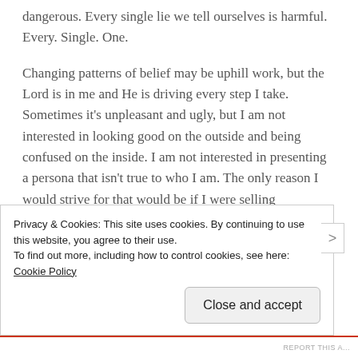dangerous. Every single lie we tell ourselves is harmful. Every. Single. One.
Changing patterns of belief may be uphill work, but the Lord is in me and He is driving every step I take. Sometimes it’s unpleasant and ugly, but I am not interested in looking good on the outside and being confused on the inside. I am not interested in presenting a persona that isn’t true to who I am. The only reason I would strive for that would be if I were selling something. And, once again, I am not interested in advertising.
Privacy & Cookies: This site uses cookies. By continuing to use this website, you agree to their use.
To find out more, including how to control cookies, see here: Cookie Policy
Close and accept